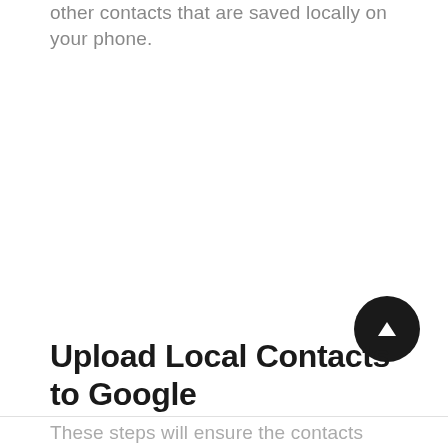other contacts that are saved locally on your phone.
Upload Local Contacts to Google
These steps will ensure the contacts saved